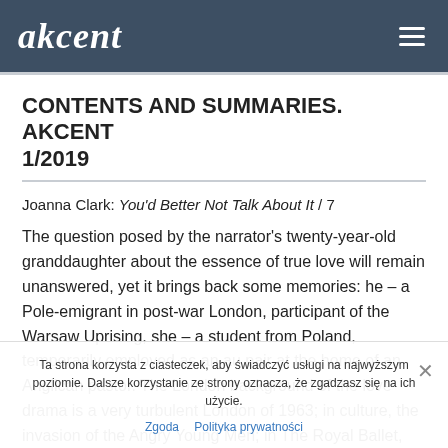akcent
CONTENTS AND SUMMARIES. AKCENT 1/2019
Joanna Clark: You'd Better Not Talk About It / 7
The question posed by the narrator's twenty-year-old granddaughter about the essence of true love will remain unanswered, yet it brings back some memories: he – a Pole-emigrant in post-war London, participant of the Warsaw Uprising, she – a student from Poland, temporarily employed as an au pair at the home of an Anglican pastor. The London background of the love drama is a very turbulent London of 1963; in culture, the invasion of the Angry Young Men; in The Royal Ballet, Rudolf Nureyev; in
Ta strona korzysta z ciasteczek, aby świadczyć usługi na najwyższym poziomie. Dalsze korzystanie ze strony oznacza, że zgadzasz się na ich użycie.